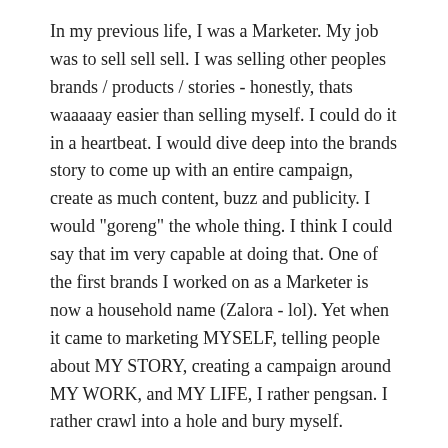In my previous life, I was a Marketer. My job was to sell sell sell. I was selling other peoples brands / products / stories - honestly, thats waaaaay easier than selling myself. I could do it in a heartbeat. I would dive deep into the brands story to come up with an entire campaign,  create as much content, buzz and publicity. I would "goreng" the whole thing. I think I could say that im very capable at doing that. One of the first brands I worked on as a Marketer is now a household name (Zalora - lol). Yet when it came to marketing MYSELF, telling people about MY STORY, creating a campaign around MY WORK, and MY LIFE, I rather pengsan. I rather crawl into a hole and bury myself.